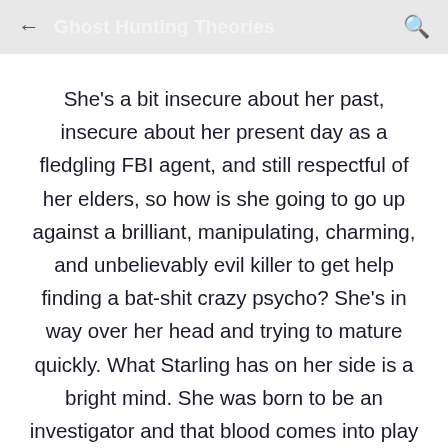Ghost Hunting Theories
She's a bit insecure about her past, insecure about her present day as a fledgling FBI agent, and still respectful of her elders, so how is she going to go up against a brilliant, manipulating, charming, and unbelievably evil killer to get help finding a bat-shit crazy psycho? She's in way over her head and trying to mature quickly. What Starling has on her side is a bright mind. She was born to be an investigator and that blood comes into play as she figures out this psycho parade